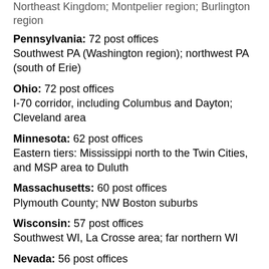Northeast Kingdom; Montpelier region; Burlington region
Pennsylvania: 72 post offices
Southwest PA (Washington region); northwest PA (south of Erie)
Ohio: 72 post offices
I-70 corridor, including Columbus and Dayton; Cleveland area
Minnesota: 62 post offices
Eastern tiers: Mississippi north to the Twin Cities, and MSP area to Duluth
Massachusetts: 60 post offices
Plymouth County; NW Boston suburbs
Wisconsin: 57 post offices
Southwest WI, La Crosse area; far northern WI
Nevada: 56 post offices
Most of the northern half of Nevada, including Reno/Sparks